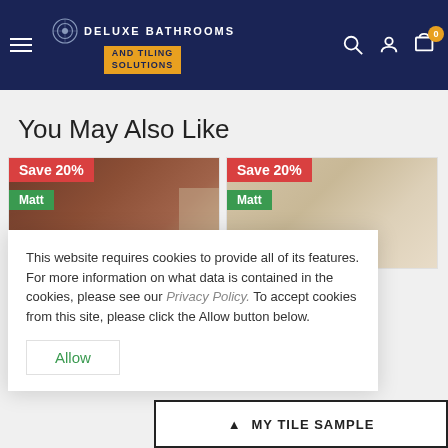[Figure (screenshot): Deluxe Bathrooms and Tiling Solutions website header with logo, hamburger menu, search, account, and cart icons on dark navy background]
You May Also Like
[Figure (photo): Product card showing brown wood-effect tile with Save 20% red badge and Matt green badge]
[Figure (photo): Product card showing beige/natural tile with Save 20% red badge and Matt green badge]
This website requires cookies to provide all of its features. For more information on what data is contained in the cookies, please see our Privacy Policy. To accept cookies from this site, please click the Allow button below.
Allow
MY TILE SAMPLE